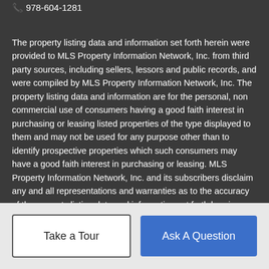978-604-1281
The property listing data and information set forth herein were provided to MLS Property Information Network, Inc. from third party sources, including sellers, lessors and public records, and were compiled by MLS Property Information Network, Inc. The property listing data and information are for the personal, non commercial use of consumers having a good faith interest in purchasing or leasing listed properties of the type displayed to them and may not be used for any purpose other than to identify prospective properties which such consumers may have a good faith interest in purchasing or leasing. MLS Property Information Network, Inc. and its subscribers disclaim any and all representations and warranties as to the accuracy of the property listing data and information set forth herein. Data last updated 2022-09-03T09:05:04.433.